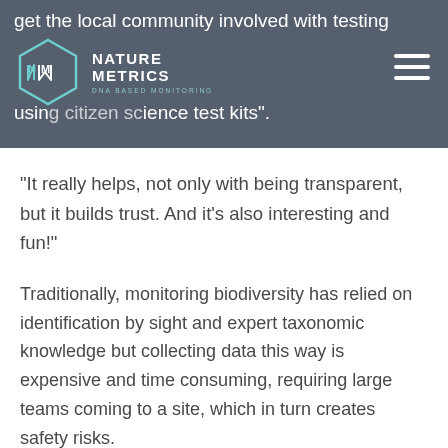get the local community involved with testing using citizen science test kits".
“It really helps, not only with being transparent, but it builds trust. And it’s also interesting and fun!”
Traditionally, monitoring biodiversity has relied on identification by sight and expert taxonomic knowledge but collecting data this way is expensive and time consuming, requiring large teams coming to a site, which in turn creates safety risks.
NatureMetrics’ Vere Ross-Gillespie says rapid surveys of the water using eDNA techniques in